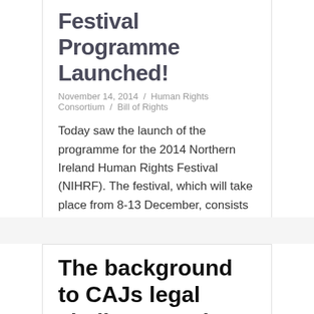Festival Programme Launched!
November 14, 2014 / Human Rights Consortium / Bill of Rights
Today saw the launch of the programme for the 2014 Northern Ireland Human Rights Festival (NIHRF). The festival, which will take place from 8-13 December, consists of a series of events on a range of human rights issues from home and abroad in celebration of International Human Rights Day on 10 December . All events…
Continue reading
The background to CAJs legal challenge to the Anti-Poverty Strategy